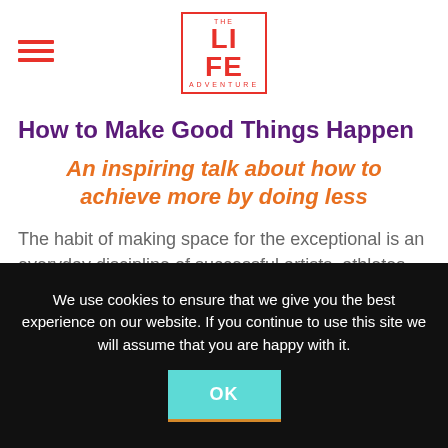THE LIFE ADVENTURE
How to Make Good Things Happen
An inspiring talk about how to achieve more by doing less
The habit of making space for the exceptional is an everyday discipline of successful artists, athletes and inventors. Yet it is the one thing that our working environments allow us
We use cookies to ensure that we give you the best experience on our website. If you continue to use this site we will assume that you are happy with it.